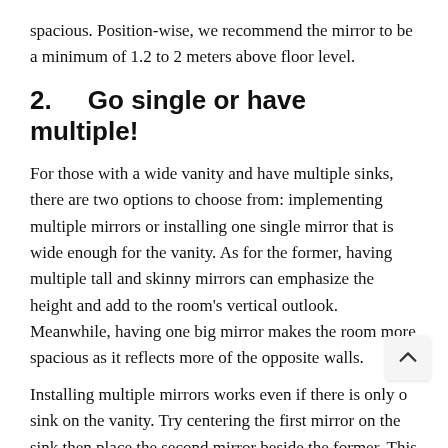spacious. Position-wise, we recommend the mirror to be a minimum of 1.2 to 2 meters above floor level.
2.   Go single or have multiple!
For those with a wide vanity and have multiple sinks, there are two options to choose from: implementing multiple mirrors or installing one single mirror that is wide enough for the vanity. As for the former, having multiple tall and skinny mirrors can emphasize the height and add to the room's vertical outlook. Meanwhile, having one big mirror makes the room more spacious as it reflects more of the opposite walls.
Installing multiple mirrors works even if there is only o sink on the vanity. Try centering the first mirror on the sink then place the second mirror beside the former. This